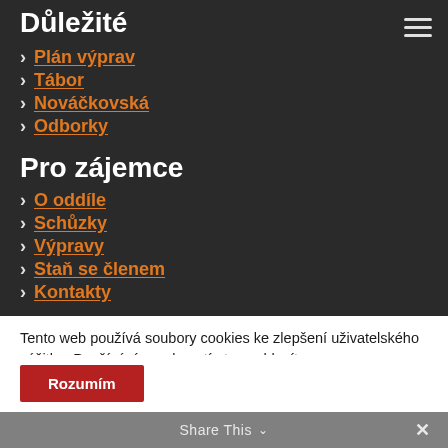Důležité
Plán výprav
Tábor
Nováčkovská
Odborky
Pro zájemce
O oddíle
Schůzky
Výpravy
Staň se členem
Kontakty
Tento web používá soubory cookies ke zlepšení uživatelského zážitku. Používáním webu s tímto souhlasíte
Rozumím
Share This